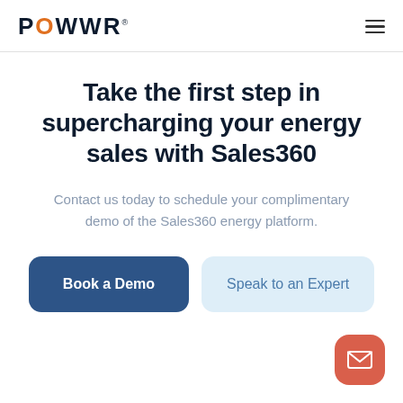POWWR
Take the first step in supercharging your energy sales with Sales360
Contact us today to schedule your complimentary demo of the Sales360 energy platform.
Book a Demo
Speak to an Expert
[Figure (illustration): Red rounded square button with white envelope/mail icon, positioned at bottom-right corner]